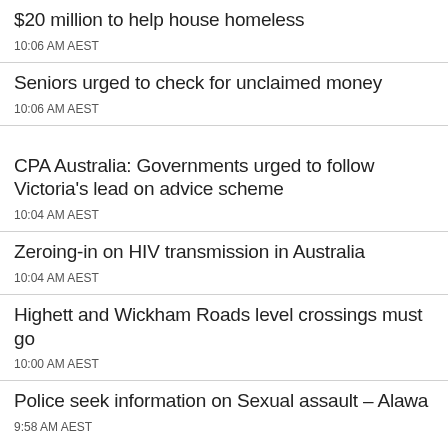$20 million to help house homeless
10:06 AM AEST
Seniors urged to check for unclaimed money
10:06 AM AEST
CPA Australia: Governments urged to follow Victoria’s lead on advice scheme
10:04 AM AEST
Zeroing-in on HIV transmission in Australia
10:04 AM AEST
Highett and Wickham Roads level crossings must go
10:00 AM AEST
Police seek information on Sexual assault – Alawa
9:58 AM AEST